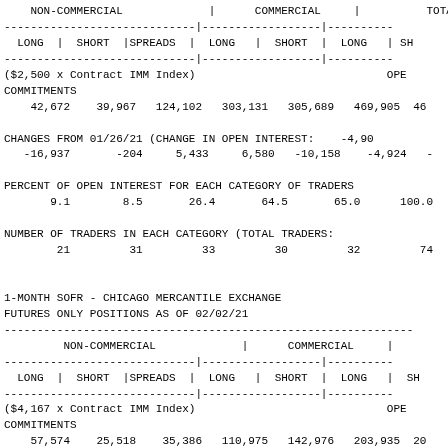| NON-COMMERCIAL LONG | NON-COMMERCIAL SHORT | NON-COMMERCIAL SPREADS | COMMERCIAL LONG | COMMERCIAL SHORT | TOTAL LONG | TOTAL SHORT |
| --- | --- | --- | --- | --- | --- | --- |
| 42,672 | 39,967 | 124,102 | 303,131 | 305,689 | 469,905 | 46... |
| -16,937 | -204 | 5,433 | 6,580 | -10,158 | -4,924 | ... |
| 9.1 | 8.5 | 26.4 | 64.5 | 65.0 | 100.0 |  |
| 21 | 31 | 33 | 30 | 32 | 74 |  |
($2,500 x Contract IMM Index)   OPEN
COMMITMENTS
    42,672    39,967   124,102   303,131   305,689   469,905   46
CHANGES FROM 01/26/21 (CHANGE IN OPEN INTEREST:    -4,90
    -16,937        -204     5,433     6,580   -10,158    -4,924    -
PERCENT OF OPEN INTEREST FOR EACH CATEGORY OF TRADERS
        9.1         8.5        26.4        64.5        65.0       100.0
NUMBER OF TRADERS IN EACH CATEGORY (TOTAL TRADERS:
         21          31          33          30          32          74
1-MONTH SOFR - CHICAGO MERCANTILE EXCHANGE
FUTURES ONLY POSITIONS AS OF 02/02/21
| NON-COMMERCIAL LONG | NON-COMMERCIAL SHORT | NON-COMMERCIAL SPREADS | COMMERCIAL LONG | COMMERCIAL SHORT | TOTAL LONG | TOTAL SHORT |
| --- | --- | --- | --- | --- | --- | --- |
| 57,574 | 25,518 | 35,386 | 110,975 | 142,976 | 203,935 | 20... |
($4,167 x Contract IMM Index)   OPEN
COMMITMENTS
    57,574    25,518    35,386   110,975   142,976   203,935   20
CHANGES FROM 01/26/21 (CHANGE IN OPEN INTEREST:   -31,49